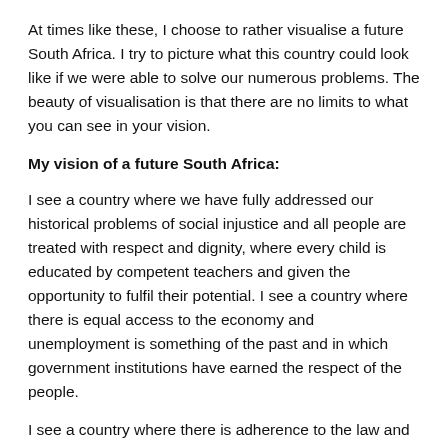At times like these, I choose to rather visualise a future South Africa. I try to picture what this country could look like if we were able to solve our numerous problems. The beauty of visualisation is that there are no limits to what you can see in your vision.
My vision of a future South Africa:
I see a country where we have fully addressed our historical problems of social injustice and all people are treated with respect and dignity, where every child is educated by competent teachers and given the opportunity to fulfil their potential. I see a country where there is equal access to the economy and unemployment is something of the past and in which government institutions have earned the respect of the people.
I see a country where there is adherence to the law and the police are seen as friends not enemies. A South Africa that is free of unbridled greed and corruption and where those in positions of power have learned to give more than they take. Imagine a